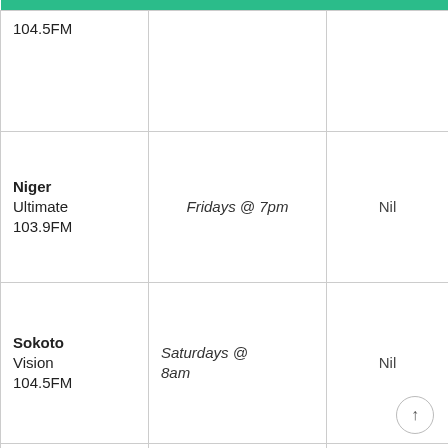| Station | Schedule |  |
| --- | --- | --- |
| 104.5FM |  |  |
| Niger
Ultimate 103.9FM | Fridays @ 7pm | Nil |
| Sokoto
Vision 104.5FM | Saturdays @ 8am | Nil |
| Abia FLO-FM 94.9 | Wednesdays @ 11am | Nil |
| Yobe
Sunshine | Saturdays | Nil |